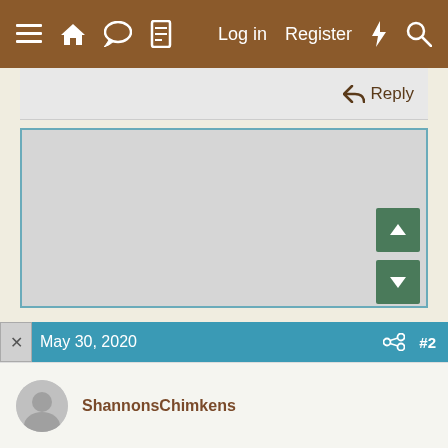≡  🏠  💬  📄   Log in   Register   ⚡   🔍
↩ Reply
[Figure (screenshot): Large grey content/image area with teal/blue border]
↑
↓
May 30, 2020  #2
ShannonsChimkens